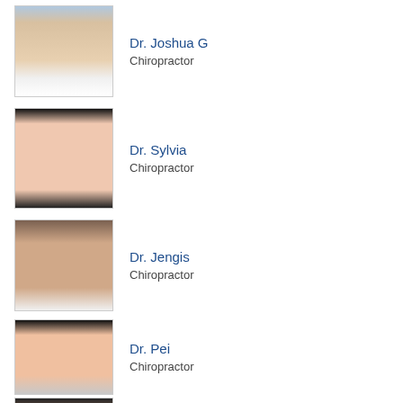[Figure (photo): Headshot of Dr. Joshua G, male, white shirt and blue tie]
Dr. Joshua G
Chiropractor
[Figure (photo): Headshot of Dr. Sylvia, female, dark hair, passport-style photo]
Dr. Sylvia
Chiropractor
[Figure (photo): Headshot of Dr. Jengis, male, white shirt and dark tie]
Dr. Jengis
Chiropractor
[Figure (photo): Headshot of Dr. Pei, female, dark hair, smiling]
Dr. Pei
Chiropractor
[Figure (photo): Headshot of Dr. Usama, partially visible]
Dr. Usama